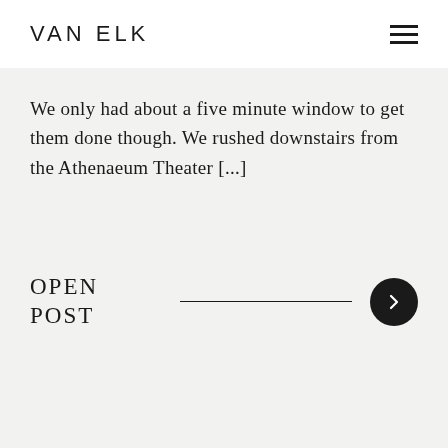VAN ELK
We only had about a five minute window to get them done though. We rushed downstairs from the Athenaeum Theater [...]
OPEN POST